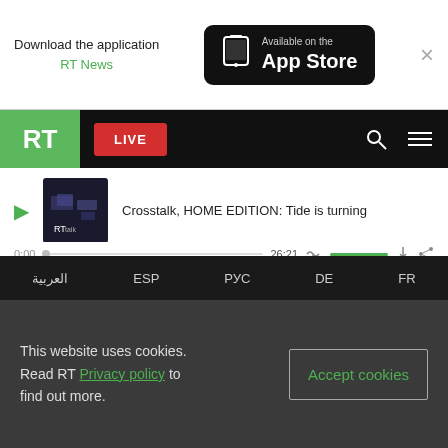[Figure (screenshot): App Store download banner with RT News app promotion]
[Figure (screenshot): RT website navigation bar with LIVE button, search, and menu icons]
Crosstalk, HOME EDITION: Tide is turning
0:00  26:21
CrossTalk on Taiwan: Reckless policy
0:00  24:2
العربية  ESP  РУС  DE  FR
This website uses cookies. Read RT Privacy policy to find out more.